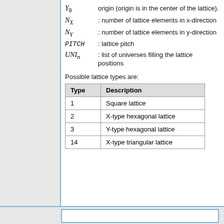Y_0  origin (origin is in the center of the lattice).
N_X  : number of lattice elements in x-direction
N_Y  : number of lattice elements in y-direction
PITCH  : lattice pitch
UNI_n  : list of universes filling the lattice positions
Possible lattice types are:
| Type | Description |
| --- | --- |
| 1 | Square lattice |
| 2 | X-type hexagonal lattice |
| 3 | Y-type hexagonal lattice |
| 14 | X-type triangular lattice |